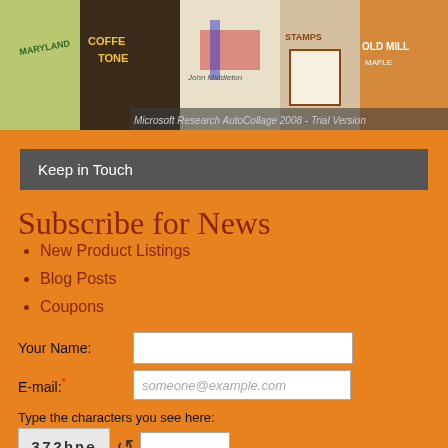[Figure (photo): Collage banner image with vintage-style labels and posters including Maryland, Coffee Tone, John Middleton, Stamps, Old Mill, and other vintage imagery. Overlaid text reads 'Microsoft Research AutoCollage 2008 - Trial Version']
Keep in Touch
Subscribe for News
New Product Listings
Blog Posts
Coupons
Your Name:
E-mail:*
Type the characters you see here: